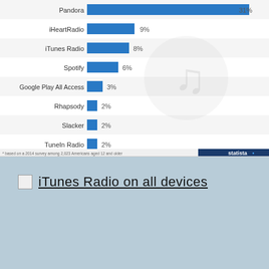[Figure (bar-chart): Music streaming services usage (partial)]
iTunes Radio on all devices